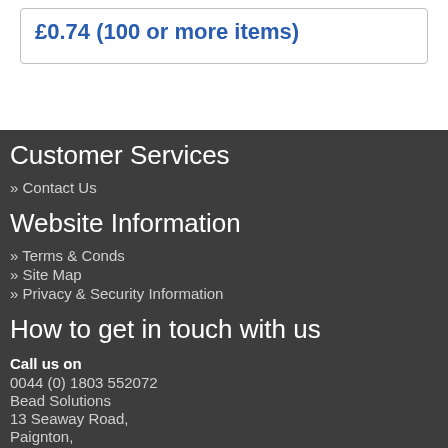£0.74 (100 or more items)
Customer Services
» Contact Us
Website Information
» Terms & Conds
» Site Map
» Privacy & Security Information
How to get in touch with us
Call us on
0044 (0) 1803 552072
Bead Solutions
13 Seaway Road,
Paignton,
Devon,